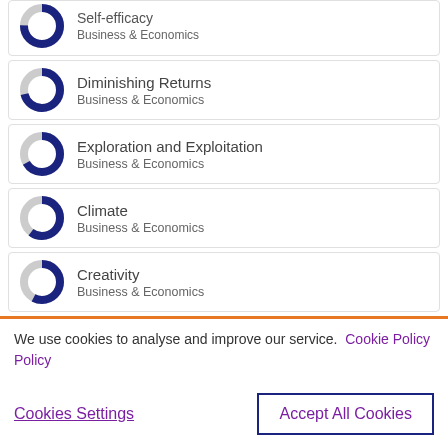Self-efficacy | Business & Economics
Diminishing Returns | Business & Economics
Exploration and Exploitation | Business & Economics
Climate | Business & Economics
Creativity | Business & Economics
We use cookies to analyse and improve our service. Cookie Policy
Cookies Settings | Accept All Cookies